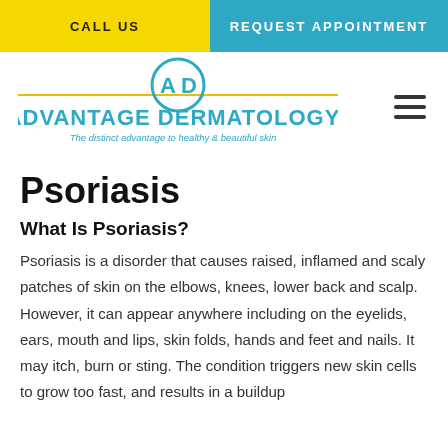CALL US | REQUEST APPOINTMENT
[Figure (logo): Advantage Dermatology logo with circular AD emblem, yellow and blue colors, tagline: The distinct advantage to healthy & beautiful skin]
Psoriasis
What Is Psoriasis?
Psoriasis is a disorder that causes raised, inflamed and scaly patches of skin on the elbows, knees, lower back and scalp. However, it can appear anywhere including on the eyelids, ears, mouth and lips, skin folds, hands and feet and nails. It may itch, burn or sting. The condition triggers new skin cells to grow too fast, and results in a buildup